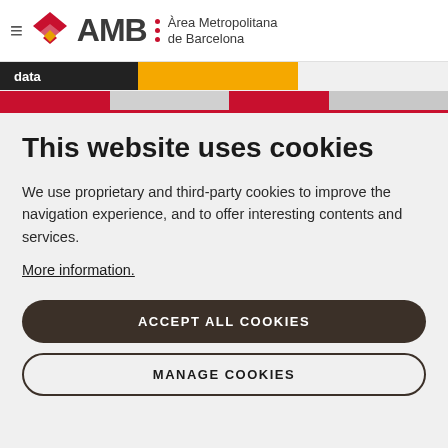[Figure (logo): AMB Àrea Metropolitana de Barcelona logo with red diamond/arrow icon, hamburger menu icon on the left]
[Figure (screenshot): Partial navigation bar showing 'data' tab in dark background and yellow block, with partial red and gray navigation tabs below]
This website uses cookies
We use proprietary and third-party cookies to improve the navigation experience, and to offer interesting contents and services.
More information.
ACCEPT ALL COOKIES
MANAGE COOKIES